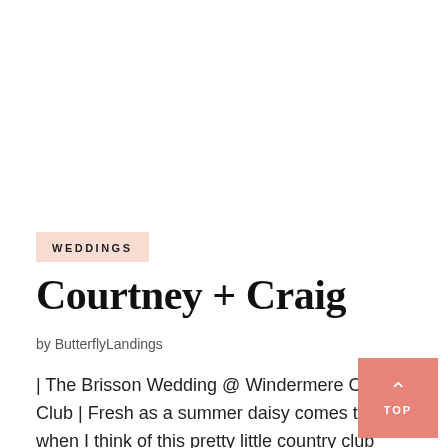WEDDINGS
Courtney + Craig
by ButterflyLandings
| The Brisson Wedding @ Windermere Country Club | Fresh as a summer daisy comes to mind when I think of this pretty little country club wedding. The bride  daisies, so her bouquet featured a mix of pink and Gerbera daisies along with the more traditional Shasta daisies to match her wishes.